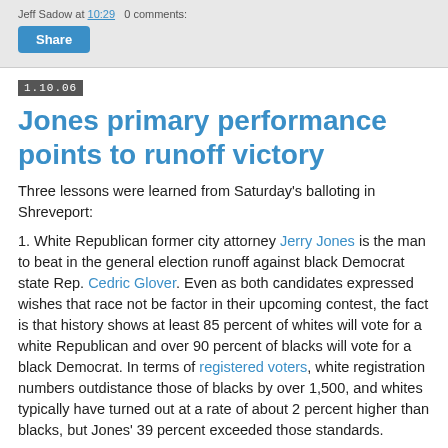Jeff Sadow at 10:29   0 comments:
Share
1.10.06
Jones primary performance points to runoff victory
Three lessons were learned from Saturday's balloting in Shreveport:
1. White Republican former city attorney Jerry Jones is the man to beat in the general election runoff against black Democrat state Rep. Cedric Glover. Even as both candidates expressed wishes that race not be factor in their upcoming contest, the fact is that history shows at least 85 percent of whites will vote for a white Republican and over 90 percent of blacks will vote for a black Democrat. In terms of registered voters, white registration numbers outdistance those of blacks by over 1,500, and whites typically have turned out at a rate of about 2 percent higher than blacks, but Jones' 39 percent exceeded those standards.